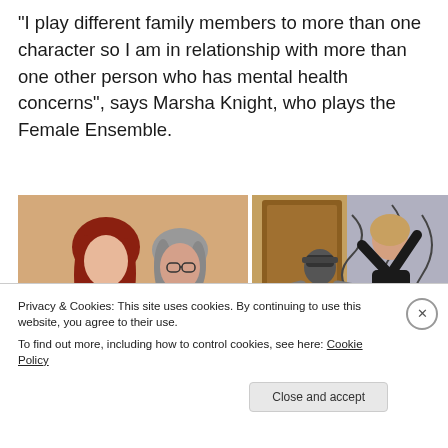“I play different family members to more than one character so I am in relationship with more than one other person who has mental health concerns”, says Marsha Knight, who plays the Female Ensemble.
[Figure (photo): Two women posing together. Left: young woman with long red hair wearing a plaid shirt. Right: older woman with grey hair wearing glasses and a red shirt. Warm orange background.]
[Figure (photo): Two people on a staircase. One person in a grey hoodie and cap appears to be restraining a tall woman in a black top and jeans who is leaning back with arms raised.]
Privacy & Cookies: This site uses cookies. By continuing to use this website, you agree to their use.
To find out more, including how to control cookies, see here: Cookie Policy